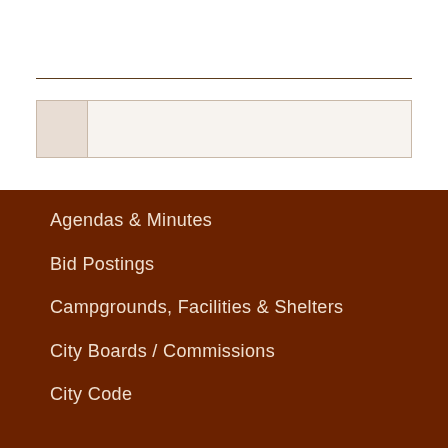[Figure (other): Search box UI element with horizontal rule above it and an icon area on the left]
Agendas & Minutes
Bid Postings
Campgrounds, Facilities & Shelters
City Boards / Commissions
City Code